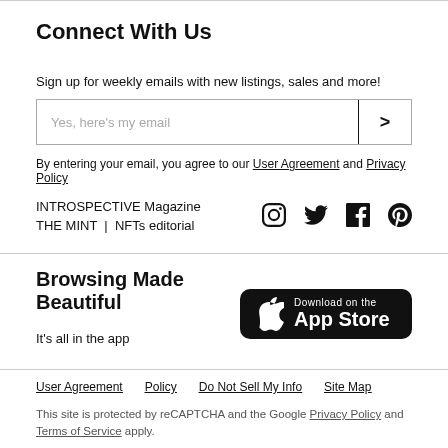Connect With Us
Sign up for weekly emails with new listings, sales and more!
Yes, here's my email [input field with submit button]
By entering your email, you agree to our User Agreement and Privacy Policy
INTROSPECTIVE Magazine
THE MINT | NFTs editorial
[Figure (other): Social media icons: Instagram, Twitter, Facebook, Pinterest]
Browsing Made Beautiful
It's all in the app
[Figure (other): Download on the App Store button]
User Agreement   Policy   Do Not Sell My Info   Site Map
This site is protected by reCAPTCHA and the Google Privacy Policy and Terms of Service apply.